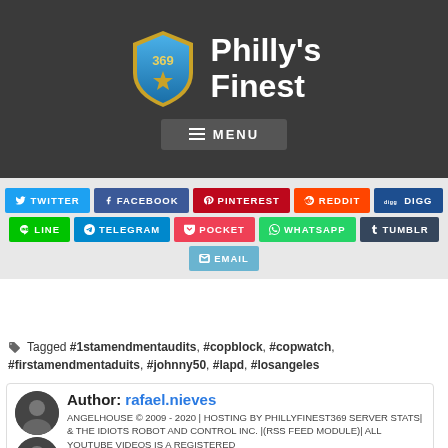[Figure (logo): Philly's Finest logo: a police badge with '369' and a star, next to bold white text 'Philly's Finest' on dark background]
[Figure (screenshot): MENU navigation button with hamburger lines icon]
[Figure (infographic): Social share buttons grid: Twitter, Facebook, Pinterest, Reddit, Digg, Line, Telegram, Pocket, WhatsApp, Tumblr, Email]
Tagged #1stamendmentaudits, #copblock, #copwatch, #firstamendmentaduits, #johnny50, #lapd, #losangeles
Author: rafael.nieves
ANGELHOUSE © 2009 - 2020 | HOSTING BY PHILLYFINEST369 SERVER STATS| & THE IDIOTS ROBOT AND CONTROL INC. |(RSS FEED MODULE)| ALL YOUTUBE VIDEOS IS A REGISTERED